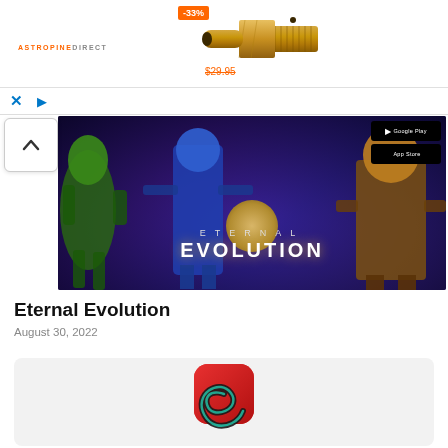[Figure (screenshot): Advertisement banner for Astropine Direct showing a brass fitting product with -33% discount badge and $29.95 strikethrough price]
[Figure (screenshot): Eternal Evolution mobile game promotional banner with fantasy characters on purple background, Google Play and App Store download badges]
Eternal Evolution
August 30, 2022
[Figure (screenshot): App icon with red rounded square background and black spiral/swirl design]